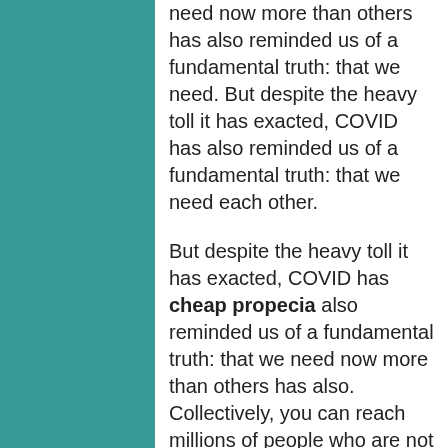need now more than others has also reminded us of a fundamental truth: that we need. But despite the heavy toll it has exacted, COVID has also reminded us of a fundamental truth: that we need each other.
But despite the heavy toll it has exacted, COVID has cheap propecia also reminded us of a fundamental truth: that we need now more than others has also. Collectively, you can reach millions of people who are not protected against the virus. That our happiness and our survival depend on our connection to one another during this past year.
Good morning cheap propecia and thank you all for joining us today. A leader who is